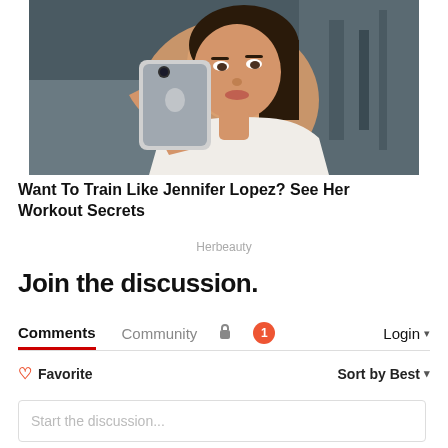[Figure (photo): Woman taking a mirror selfie at a gym, holding a smartphone, wearing a white racerback top]
Want To Train Like Jennifer Lopez? See Her Workout Secrets
Herbeauty
Join the discussion.
Comments  Community  [lock icon]  [1 notification]  Login ▾
♡ Favorite   Sort by Best ▾
Start the discussion...